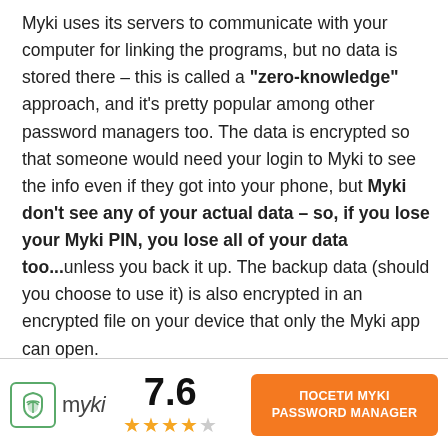Myki uses its servers to communicate with your computer for linking the programs, but no data is stored there – this is called a "zero-knowledge" approach, and it's pretty popular among other password managers too. The data is encrypted so that someone would need your login to Myki to see the info even if they got into your phone, but Myki don't see any of your actual data – so, if you lose your Myki PIN, you lose all of your data too...unless you back it up. The backup data (should you choose to use it) is also encrypted in an encrypted file on your device that only the Myki app can open.
[Figure (logo): Myki logo with icon, score 7.6, star rating (4 out of 5 stars), and orange CTA button 'ПОСЕТИ MYKI PASSWORD MANAGER']